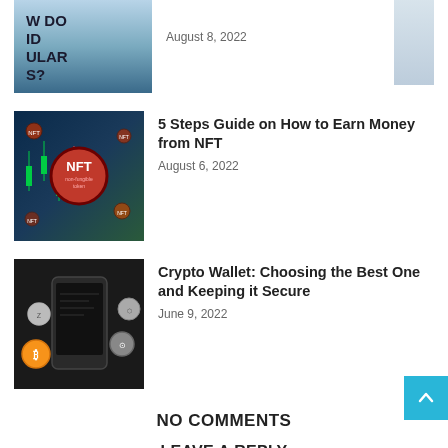[Figure (photo): Partial image showing bold text 'HOW DO NFTs FIND POPULAR NFTs?' with a person in background]
August 8, 2022
[Figure (photo): NFT token graphic with red circular NFT logo badge, candlestick charts in background]
5 Steps Guide on How to Earn Money from NFT
August 6, 2022
[Figure (photo): Smartphone and cryptocurrency coins on dark background]
Crypto Wallet: Choosing the Best One and Keeping it Secure
June 9, 2022
NO COMMENTS
LEAVE A REPLY